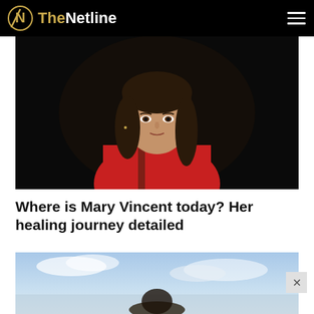TheNetline
[Figure (photo): Woman with dark hair and bangs wearing a red top, photographed against a dark background, serious expression]
Where is Mary Vincent today? Her healing journey detailed
[Figure (photo): Outdoor scene with blue sky and water, partially visible, appears to show a landscape]